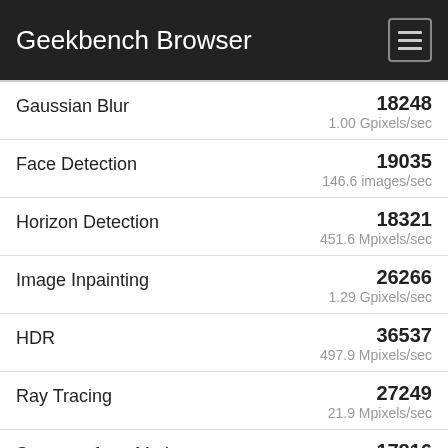Geekbench Browser
Gaussian Blur 18248 1.00 Gpixels/sec
Face Detection 19035 146.6 images/sec
Horizon Detection 18321 451.6 Mpixels/sec
Image Inpainting 26266 1.29 Gpixels/sec
HDR 36537 497.9 Mpixels/sec
Ray Tracing 27249 21.9 Mpixels/sec
Structure from Motion 17816 159.6 Kpixels/sec
Speech Recognition 11392